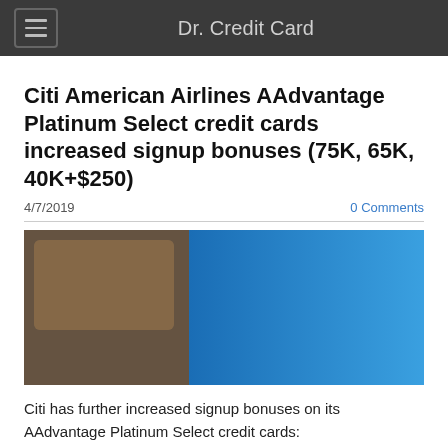Dr. Credit Card
Citi American Airlines AAdvantage Platinum Select credit cards increased signup bonuses (75K, 65K, 40K+$250)
4/7/2019   0 Comments
[Figure (photo): Credit card image with blue gradient banner]
Citi has further increased signup bonuses on its AAdvantage Platinum Select credit cards:
Personal AAdvantage Platinum Select MasterCard has two different offers: (1) 65,000 miles after spending $4,000 within